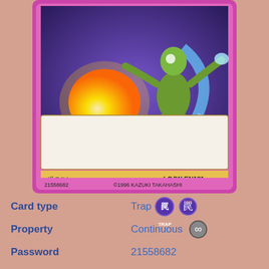[Figure (illustration): Yu-Gi-Oh! trading card showing a monster creature with a glowing energy ball, pink card border, 1st Edition, LCJW-EN131, with effect text: 'When an opponent's monster declares an attack on a monster you control: You can target 1 "Revival Jam" you control; switch the attack target to that target.' Password: 21558682, ©1996 KAZUKI TAKAHASHI]
Card type: Trap
Property: Continuous
Password: 21558682
Effect types: Trigger-like
Status: Unlimited (OCG)